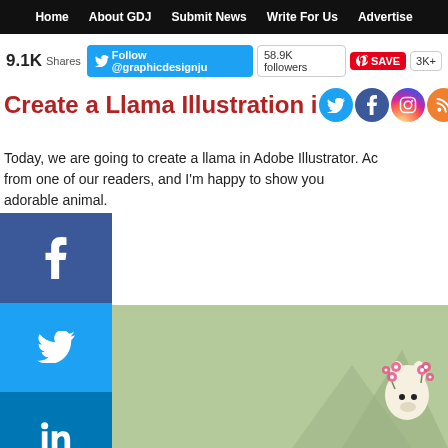Home  About GDJ  Submit News  Write For Us  Advertise
9.1K Shares  Follow @graphicdesignju  58.9K followers  SAVE  3K+
Create a Llama Illustration in Adobe Illustrator
Today, we are going to create a llama in Adobe Illustrator. Ac... from one of our readers, and I'm happy to show you... adorable animal.
[Figure (screenshot): Left sidebar with social share buttons: Facebook (blue), Twitter (blue), LinkedIn (blue), Pinterest (red), More (+) (grey)]
[Figure (illustration): Green background illustration area with triangle mountain shapes and a cute llama illustration in the bottom right corner]